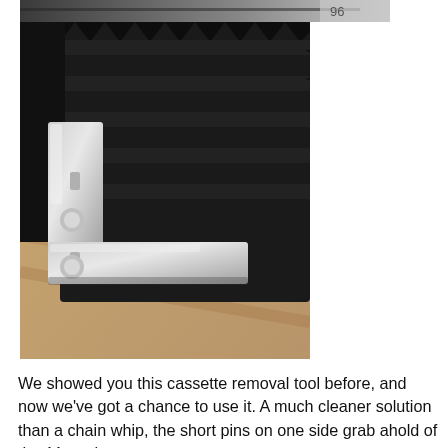[Figure (photo): Close-up photo of a bicycle cassette removal tool (lock ring tool / chain whip tool) with silver metal pins engaging the cogs of a black bicycle cassette/sprocket cluster.]
We showed you this cassette removal tool before, and now we've got a chance to use it. A much cleaner solution than a chain whip, the short pins on one side grab ahold of the 11 tooth sprocket, while the longer pins on the 12 of...